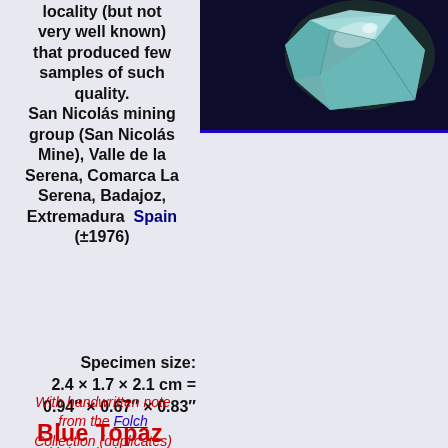[Figure (photo): Close-up photo of a blue-green topaz mineral specimen against a dark background, shown in the upper right portion of the page.]
locality (but not very well known) that produced few samples of such quality. San Nicolás mining group (San Nicolás Mine), Valle de la Serena, Comarca La Serena, Badajoz, Extremadura Spain (±1976)
Specimen size: 2.4 × 1.7 × 2.1 cm = 0.94″ × 0.67″ × 0.83″
With handwritten note from the Folch Collection (duplicates)
Blue Topaz